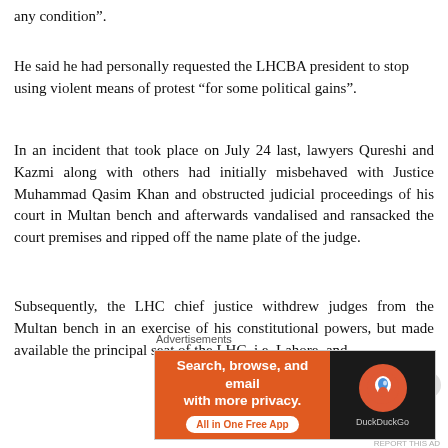any condition".
He said he had personally requested the LHCBA president to stop using violent means of protest “for some political gains”.
In an incident that took place on July 24 last, lawyers Qureshi and Kazmi along with others had initially misbehaved with Justice Muhammad Qasim Khan and obstructed judicial proceedings of his court in Multan bench and afterwards vandalised and ransacked the court premises and ripped off the name plate of the judge.
Subsequently, the LHC chief justice withdrew judges from the Multan bench in an exercise of his constitutional powers, but made available the principal seat of the LHC, i.e. Lahore, and
Advertisements
[Figure (screenshot): DuckDuckGo advertisement banner with orange left panel reading 'Search, browse, and email with more privacy. All in One Free App' and dark right panel with DuckDuckGo logo]